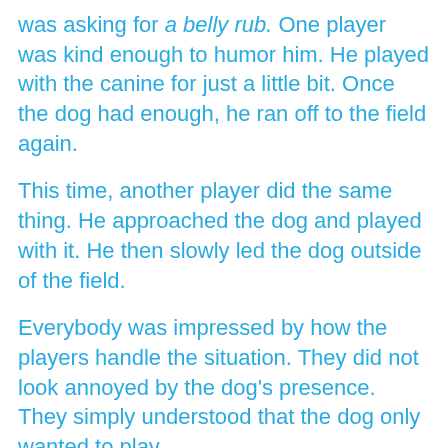was asking for a belly rub. One player was kind enough to humor him. He played with the canine for just a little bit. Once the dog had enough, he ran off to the field again.
This time, another player did the same thing. He approached the dog and played with it. He then slowly led the dog outside of the field.
Everybody was impressed by how the players handle the situation. They did not look annoyed by the dog's presence. They simply understood that the dog only wanted to play.
Everybody cheered the player on for what he did. The kind man did not chase the dog away but, instead, playfully led him out of the field. The audience was impressed by him and all the other players who stayed calm and collected. They were very patient with the dog, and that was impressive